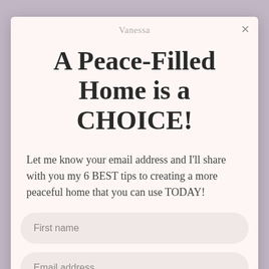LINDASONIA SAYS
December 17, 2013 at 3:45 PM
What a sweet post. It brought a tear to my eye. Thanks so much for sharing. God bless you and yours
[Figure (illustration): Purple and white decorative quilt pattern tile]
Vanessa
A Peace-Filled Home is a CHOICE!
Let me know your email address and I'll share with you my 6 BEST tips to creating a more peaceful home that you can use TODAY!
First name
Email address
Send it NOW!